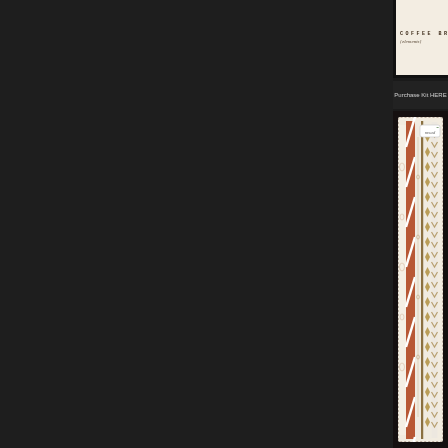COFFEE BREAK {elements}
Purchase Kit HERE
[Figure (illustration): Scrapbook digital paper kit preview showing multiple decorative paper strips fanned out: floral/botanical line art on cream, burnt orange diagonal stripe, cream with vine florals, dark gold vertical stripe, gold diamond/argyle pattern on cream, tan chevron on cream, botanical line art on cream, brown and cream diagonal stripe. A small white label tag reads 'msad' with a small bird icon.]